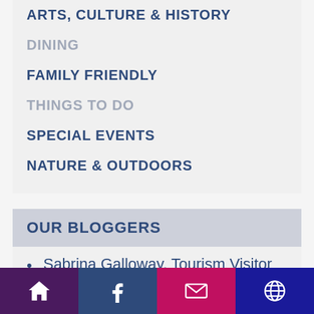ARTS, CULTURE & HISTORY
DINING
FAMILY FRIENDLY
THINGS TO DO
SPECIAL EVENTS
NATURE & OUTDOORS
OUR BLOGGERS
Sabrina Galloway, Tourism Visitor Outreach Specialist
Jenna Harte-Wisniewski, Marketing Librarian
Heather Jonasson, Former Baytonian/Author